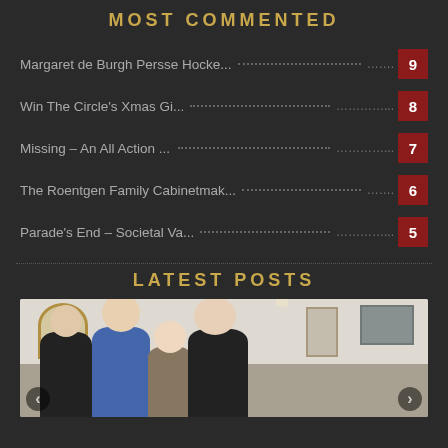MOST COMMENTED
Margaret de Burgh Persse Hocke... ........ 9
Win The Circle's Xmas Gi... ............... 8
Missing – An All Action ... ............... 7
The Roentgen Family Cabinetmak... ....... 6
Parade's End – Societal Va... .............. 5
LATEST POSTS
[Figure (photo): Group photo of four people standing together indoors, with a portrait painting visible on the wall behind them. Navigation arrows visible on left and right sides.]